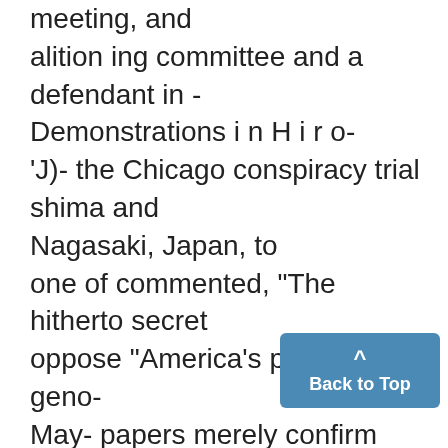meeting, and alition ing committee and a defendant in - Demonstrations i n H i r o- 'J)- the Chicago conspiracy trial shima and Nagasaki, Japan, to one of commented, "The hitherto secret oppose "America's policy of geno- May- papers merely confirm what the cide against the peoples of Asia. bshing- People's Coalition has been say- Delegates at the PCPJ meet- itional ing all along about contempt of ing also approved a statement ed by the American people and